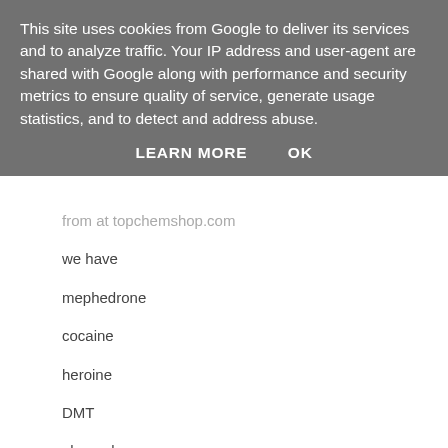[Figure (screenshot): Cookie consent banner overlay with grey background, white text explaining Google cookies usage, and two buttons: LEARN MORE and OK]
from at topchemshop.com
we have
mephedrone
cocaine
heroine
DMT
alprazolam
and some pills.
whatsapp:+1(202)630-0895
call or text:+1(202)630-0895
WICKr: topchemshop
COMPANY MAIL:topchemshop@gmail.com
great idea
buy mephedrone online
buy heroin online